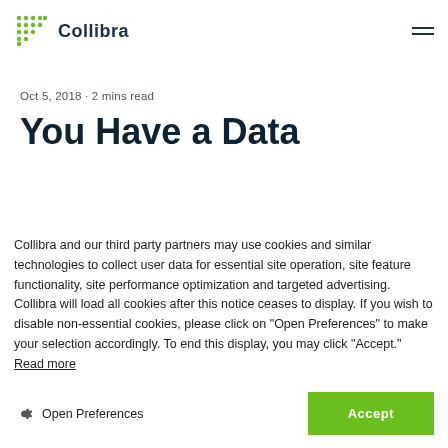Collibra
Oct 5, 2018 · 2 mins read
You Have a Data
Collibra and our third party partners may use cookies and similar technologies to collect user data for essential site operation, site feature functionality, site performance optimization and targeted advertising. Collibra will load all cookies after this notice ceases to display. If you wish to disable non-essential cookies, please click on "Open Preferences" to make your selection accordingly. To end this display, you may click "Accept." Read more
Open Preferences
Accept